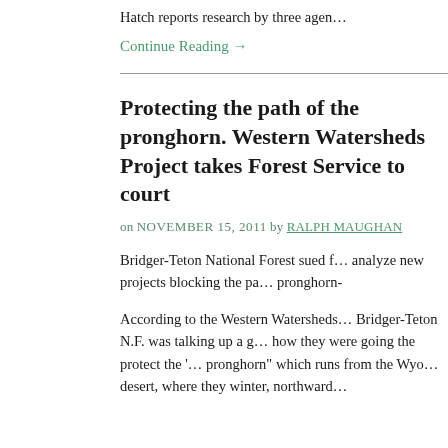Hatch reports research by three agen…
Continue Reading →
Protecting the path of the pronghorn. Western Watersheds Project takes Forest Service to court
on NOVEMBER 15, 2011 by RALPH MAUGHAN
Bridger-Teton National Forest sued f… analyze new projects blocking the pa… pronghorn-
According to the Western Watersheds… Bridger-Teton N.F. was talking up a g… how they were going the protect the '… pronghorn" which runs from the Wyo… desert, where they winter, northward…